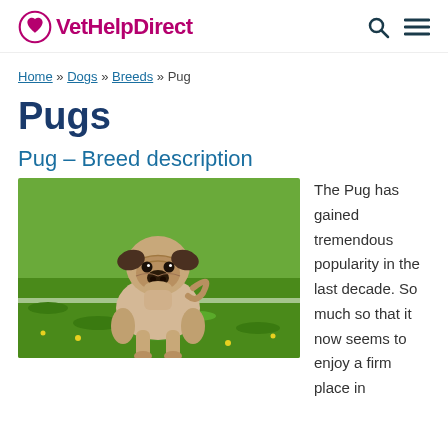VetHelpDirect
Home » Dogs » Breeds » Pug
Pugs
Pug – Breed description
[Figure (photo): A fawn pug dog standing on green grass, facing the camera.]
The Pug has gained tremendous popularity in the last decade. So much so that it now seems to enjoy a firm place in